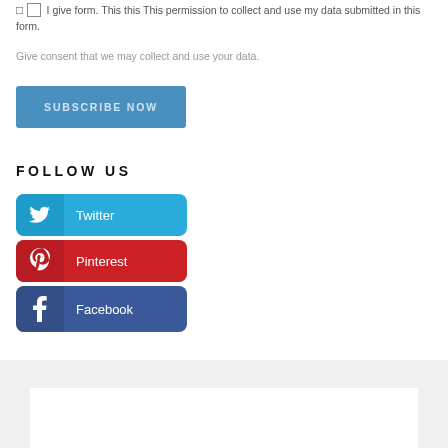□ I give form. This this This permission to collect and use my data submitted in this form.
Give consent that we may collect and use your data.
[Figure (other): Blue SUBSCRIBE NOW button]
FOLLOW US
[Figure (other): Twitter social media button (blue with bird icon)]
[Figure (other): Pinterest social media button (red with P icon)]
[Figure (other): Facebook social media button (dark blue with f icon)]
[Figure (other): Bottom gray content area with white inner box]